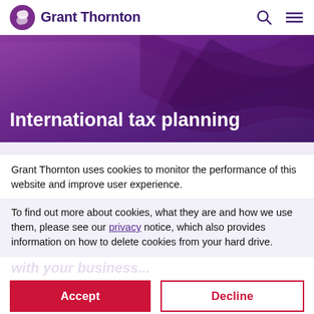Grant Thornton
International tax planning
Grant Thornton uses cookies to monitor the performance of this website and improve user experience.
To find out more about cookies, what they are and how we use them, please see our privacy notice, which also provides information on how to delete cookies from your hard drive.
Accept
Decline